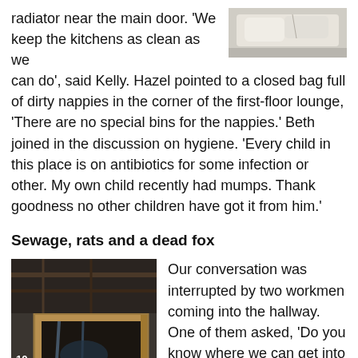radiator near the main door. ‘We keep the kitchens as clean as we can do’, said Kelly. Hazel pointed to a closed bag full of dirty nappies in the corner of the first-floor lounge, ‘There are no special bins for the nappies.’ Beth joined in the discussion on hygiene. ‘Every child in this place is on antibiotics for some infection or other. My own child recently had mumps. Thank goodness no other children have got it from him.’
[Figure (photo): Photo of white bags or fabric piled up near a wall]
Sewage, rats and a dead fox
[Figure (photo): Photo of a dark cellar or underground space with wooden framing and debris]
Our conversation was interrupted by two workmen coming into the hallway. One of them asked, ‘Do you know where we can get into the cellars?’ I asked if they were there to repair the boiler. ‘No, we’ve been told
there are flood balls...